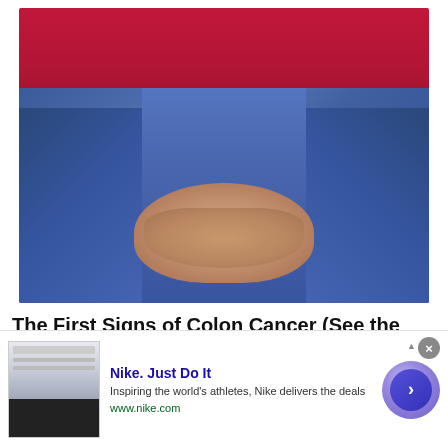[Figure (photo): Close-up photo of a person from behind wearing tight blue jeans and a red long-sleeve top, with both hands clasped behind their lower back/buttocks area.]
The First Signs of Colon Cancer (See the List)
COLON | SEARCH ADS
[Figure (screenshot): Advertisement banner for Nike. Just Do It — showing a thumbnail image, text 'Inspiring the world's athletes, Nike delivers the deals', URL www.nike.com, and a blue arrow button.]